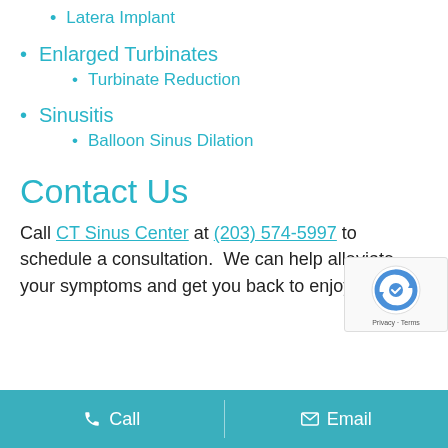Latera Implant
Enlarged Turbinates
Turbinate Reduction
Sinusitis
Balloon Sinus Dilation
Contact Us
Call CT Sinus Center at (203) 574-5997 to schedule a consultation.  We can help alleviate your symptoms and get you back to enjoying life!
Call  Email